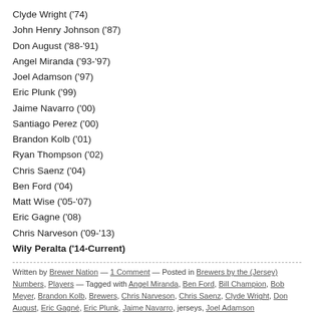Clyde Wright ('74)
John Henry Johnson ('87)
Don August ('88-'91)
Angel Miranda ('93-'97)
Joel Adamson ('97)
Eric Plunk ('99)
Jaime Navarro ('00)
Santiago Perez ('00)
Brandon Kolb ('01)
Ryan Thompson ('02)
Chris Saenz ('04)
Ben Ford ('04)
Matt Wise ('05-'07)
Eric Gagne ('08)
Chris Narveson ('09-'13)
Wily Peralta ('14-Current)
Written by Brewer Nation — 1 Comment — Posted in Brewers by the (Jersey) Numbers, Players — Tagged with Angel Miranda, Ben Ford, Bill Champion, Bob Meyer, Brandon Kolb, Brewers, Chris Narveson, Chris Saenz, Clyde Wright, Don August, Eric Gagné, Eric Plunk, Jaime Navarro, jerseys, Joel Adamson